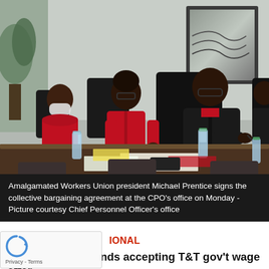[Figure (photo): Amalgamated Workers Union president Michael Prentice and other union representatives in red shirts seated at a conference table, signing documents. Several water bottles visible on the dark wooden table. Meeting room setting with framed artwork on the wall.]
Amalgamated Workers Union president Michael Prentice signs the collective bargaining agreement at the CPO's office on Monday - Picture courtesy Chief Personnel Officer's office
NATIONAL
Union leader defends accepting T&T gov't wage offer